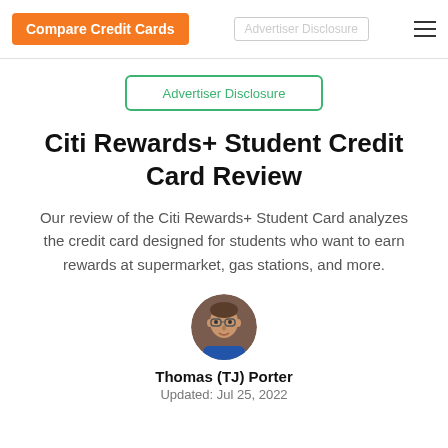Compare Credit Cards | Advertiser Disclosure
Advertiser Disclosure
Citi Rewards+ Student Credit Card Review
Our review of the Citi Rewards+ Student Card analyzes the credit card designed for students who want to earn rewards at supermarket, gas stations, and more.
[Figure (photo): Circular profile photo of Thomas (TJ) Porter, a man wearing glasses and a blue shirt]
Thomas (TJ) Porter
Updated: Jul 25, 2022